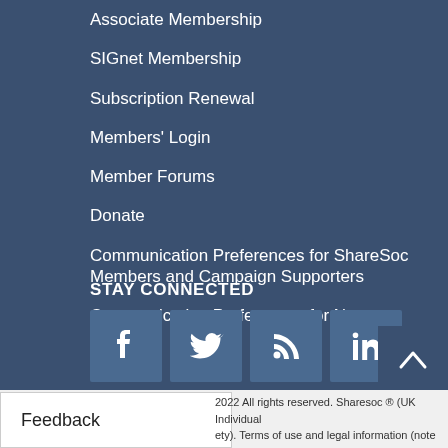Associate Membership
SIGnet Membership
Subscription Renewal
Members' Login
Member Forums
Donate
Communication Preferences for ShareSoc Members and Campaign Supporters
Communication Preferences for Non-members
STAY CONNECTED
[Figure (other): Social media icons: Facebook, Twitter, RSS feed, LinkedIn]
Feedback
2022 All rights reserved. Sharesoc ® (UK Individual ety). Terms of use and legal information (note this